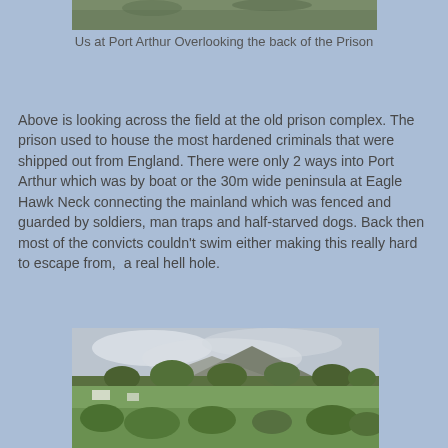[Figure (photo): Partial view of a green field area at Port Arthur, top portion of image]
Us at Port Arthur Overlooking the back of the Prison
Above is looking across the field at the old prison complex. The prison used to house the most hardened criminals that were shipped out from England. There were only 2 ways into Port Arthur which was by boat or the 30m wide peninsula at Eagle Hawk Neck connecting the mainland which was fenced and guarded by soldiers, man traps and half-starved dogs. Back then most of the convicts couldn't swim either making this really hard to escape from,  a real hell hole.
[Figure (photo): Landscape view of Port Arthur grounds with trees, green lawn, and a hill/mountain in the background under a cloudy sky]